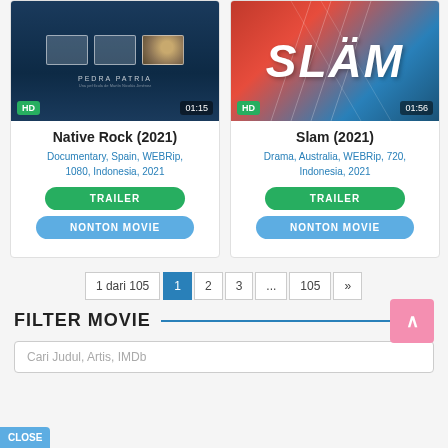[Figure (screenshot): Movie card for Native Rock (2021) with HD badge and 01:15 duration thumbnail]
Native Rock (2021)
Documentary, Spain, WEBRip, 1080, Indonesia, 2021
TRAILER
NONTON MOVIE
[Figure (screenshot): Movie card for Slam (2021) with HD badge and 01:56 duration thumbnail showing SLAM text]
Slam (2021)
Drama, Australia, WEBRip, 720, Indonesia, 2021
TRAILER
NONTON MOVIE
1 dari 105   1   2   3   ...   105   »
FILTER MOVIE
Cari Judul, Artis, IMDb
CLOSE